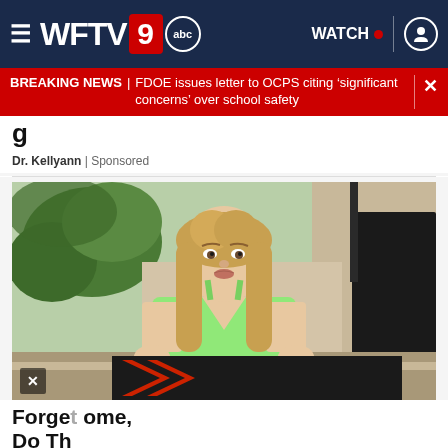WFTV 9 abc — WATCH
BREAKING NEWS | FDOE issues letter to OCPS citing 'significant concerns' over school safety
Dr. Kellyann | Sponsored
[Figure (photo): Woman with long blonde wavy hair wearing a light green top, standing outdoors in front of a building with trees in the background]
Forget Botox, Do Th... home,